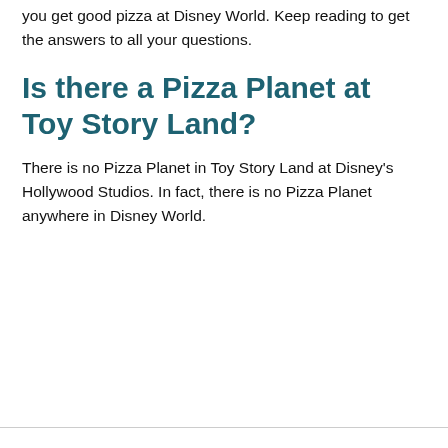you get good pizza at Disney World. Keep reading to get the answers to all your questions.
Is there a Pizza Planet at Toy Story Land?
There is no Pizza Planet in Toy Story Land at Disney's Hollywood Studios. In fact, there is no Pizza Planet anywhere in Disney World.